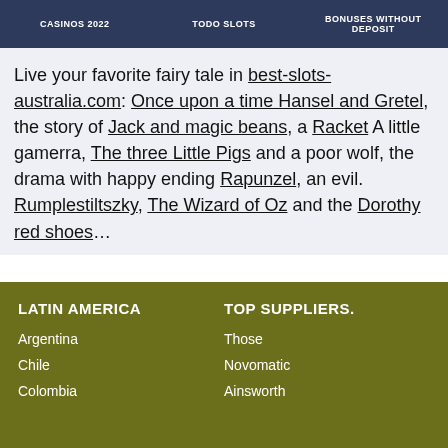CASINOS 2022  TODO SLOTS  BONUSES WITHOUT DEPOSIT
Live your favorite fairy tale in best-slots-australia.com: Once upon a time Hansel and Gretel, the story of Jack and magic beans, a Racket A little gamerra, The three Little Pigs and a poor wolf, the drama with happy ending Rapunzel, an evil. Rumplestiltszky, The Wizard of Oz and the Dorothy red shoes…
LATIN AMERICA
TOP SUPPLIERS.
Argentina
Those
Chile
Novomatic
Colombia
Ainsworth